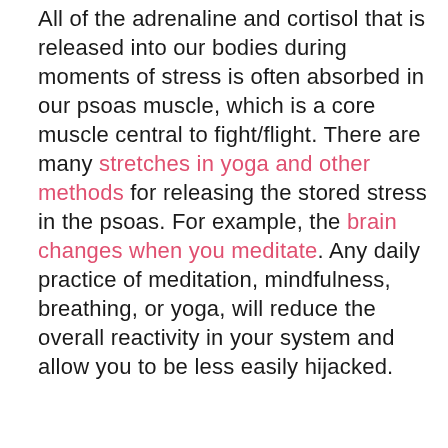All of the adrenaline and cortisol that is released into our bodies during moments of stress is often absorbed in our psoas muscle, which is a core muscle central to fight/flight. There are many stretches in yoga and other methods for releasing the stored stress in the psoas. For example, the brain changes when you meditate. Any daily practice of meditation, mindfulness, breathing, or yoga, will reduce the overall reactivity in your system and allow you to be less easily hijacked.